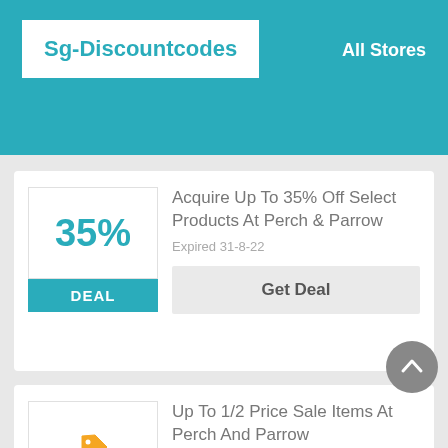Sg-Discountcodes   All Stores
Acquire Up To 35% Off Select Products At Perch & Parrow
Expired 31-8-22
Get Deal
Up To 1/2 Price Sale Items At Perch And Parrow